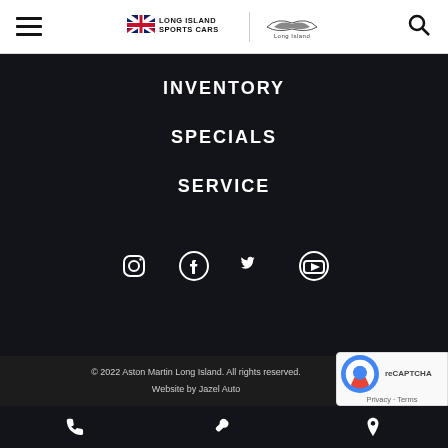Long Island Sports Cars | Aston Martin Long Island
INVENTORY
SPECIALS
SERVICE
ABOUT
[Figure (other): Social media icons row: Instagram, Facebook, Twitter, YouTube]
© 2022 Aston Martin Long Island. All rights reserved. Website by Jazel Auto | Sitemap | Privacy
[Figure (other): Bottom action bar with phone, wrench, and map pin icons; reCAPTCHA badge overlay]